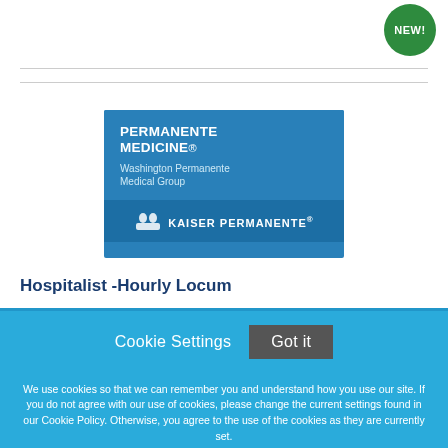[Figure (logo): Green circular badge with text NEW! in white uppercase letters]
[Figure (logo): Permanente Medicine - Washington Permanente Medical Group logo with Kaiser Permanente branding on blue background]
Hospitalist -Hourly Locum
Cookie Settings  Got it

We use cookies so that we can remember you and understand how you use our site. If you do not agree with our use of cookies, please change the current settings found in our Cookie Policy. Otherwise, you agree to the use of the cookies as they are currently set.